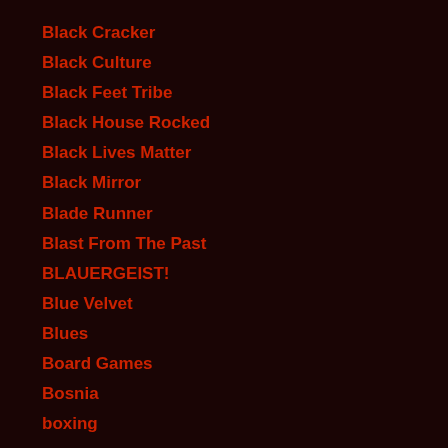Black Cracker
Black Culture
Black Feet Tribe
Black House Rocked
Black Lives Matter
Black Mirror
Blade Runner
Blast From The Past
BLAUERGEIST!
Blue Velvet
Blues
Board Games
Bosnia
boxing